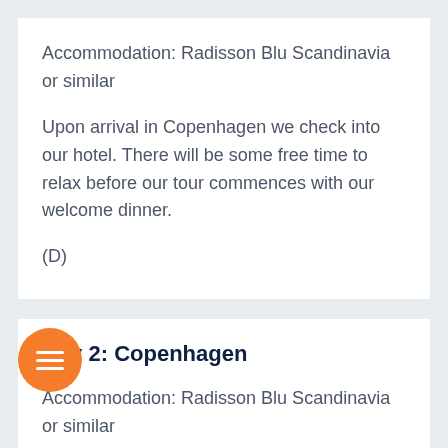Accommodation: Radisson Blu Scandinavia or similar
Upon arrival in Copenhagen we check into our hotel. There will be some free time to relax before our tour commences with our welcome dinner.
(D)
Day 2: Copenhagen
Accommodation: Radisson Blu Scandinavia or similar
y we enjoy a sightseeing tour of Copenhagen followed by lunch. In the afternoon we begin our